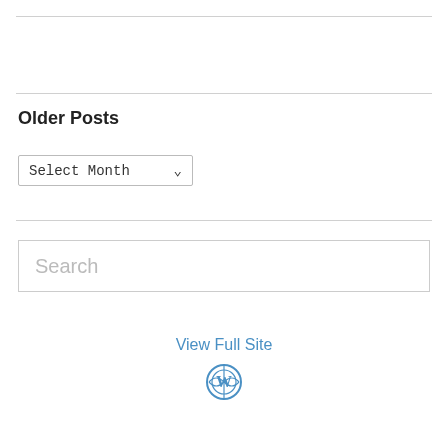Older Posts
Select Month
Search
View Full Site
[Figure (logo): WordPress logo icon in blue]